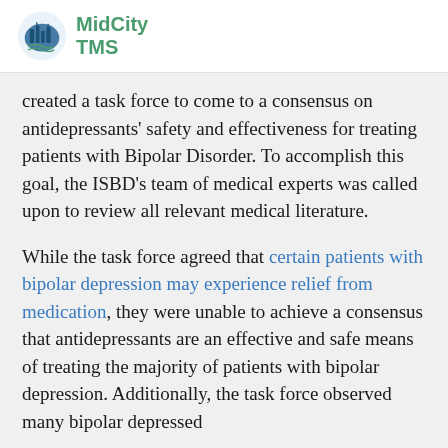MidCity TMS
created a task force to come to a consensus on antidepressants' safety and effectiveness for treating patients with Bipolar Disorder. To accomplish this goal, the ISBD's team of medical experts was called upon to review all relevant medical literature.
While the task force agreed that certain patients with bipolar depression may experience relief from medication, they were unable to achieve a consensus that antidepressants are an effective and safe means of treating the majority of patients with bipolar depression. Additionally, the task force observed many bipolar depressed